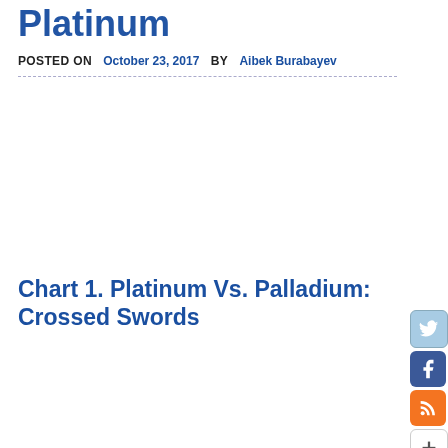Platinum
POSTED ON  October 23, 2017  BY  Aibek Burabayev
Chart 1. Platinum Vs. Palladium: Crossed Swords